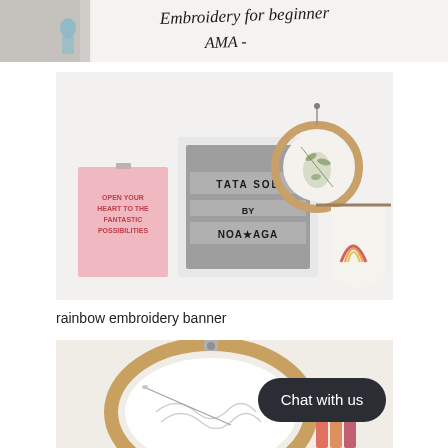[Figure (photo): Partial photo at top showing handwritten text 'Embroidery for beginner' and 'AMA-' on white paper, with a decorative figure visible.]
[Figure (photo): Photo of a white wall with three decorative items: a pink card reading 'OPEN YOUR HEART TO THE FANTASTIC POSSIBILITIES', a gray letter board reading 'TATASOL BY NOA*AGA', an embroidery hoop with floral design, and a fabric banner with a rainbow motif.]
rainbow embroidery banner
[Figure (photo): Photo of an embroidery hoop on a white surface with a needle and traced embroidery pattern inside. Colorful embroidery floss visible at bottom right. A dark rounded 'Chat with us' button overlays the image.]